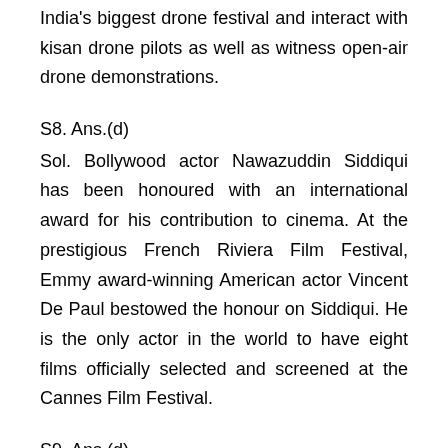India's biggest drone festival and interact with kisan drone pilots as well as witness open-air drone demonstrations.
S8. Ans.(d)
Sol. Bollywood actor Nawazuddin Siddiqui has been honoured with an international award for his contribution to cinema. At the prestigious French Riviera Film Festival, Emmy award-winning American actor Vincent De Paul bestowed the honour on Siddiqui. He is the only actor in the world to have eight films officially selected and screened at the Cannes Film Festival.
S9. Ans.(d)
Sol. Indian Government Officer, Anwar Hussain Shaik has been made the chair of the World Trade